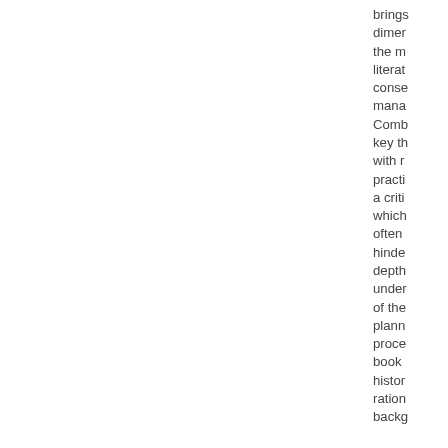brings dimen the m literat conse mana Comb key th with r practi a criti which often hinde depth under of the planni proce book histor ration backg